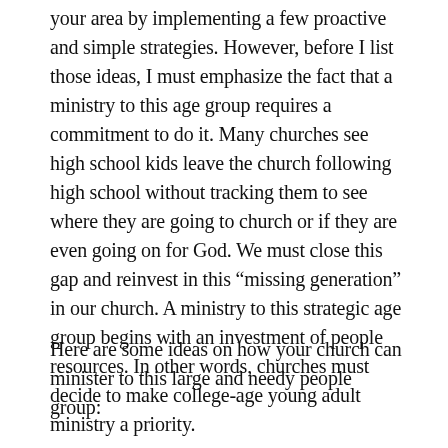your area by implementing a few proactive and simple strategies. However, before I list those ideas, I must emphasize the fact that a ministry to this age group requires a commitment to do it. Many churches see high school kids leave the church following high school without tracking them to see where they are going to church or if they are even going on for God. We must close this gap and reinvest in this “missing generation” in our church. A ministry to this strategic age group begins with an investment of people resources. In other words, churches must decide to make college-age young adult ministry a priority.
Here are some ideas on how your church can minister to this large and needy people group: